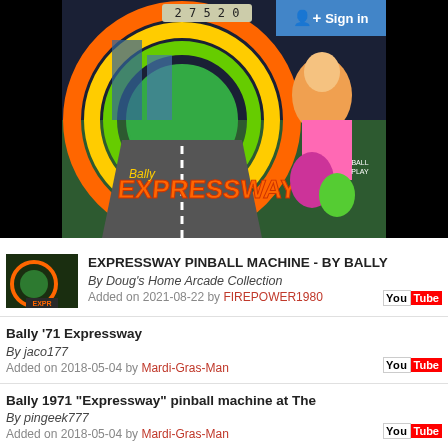[Figure (photo): Bally Expressway pinball machine backglass photo, colorful 1971 artwork with score display showing 27520, black bars on left and right sides, Sign In button top right]
EXPRESSWAY PINBALL MACHINE - BY BALLY
By Doug's Home Arcade Collection
Added on 2021-08-22 by FIREPOWER1980
Bally '71 Expressway
By jaco177
Added on 2018-05-04 by Mardi-Gras-Man
Bally 1971 "Expressway" pinball machine at The
By pingeek777
Added on 2018-05-04 by Mardi-Gras-Man
1971 Bally Expressway game play with new...